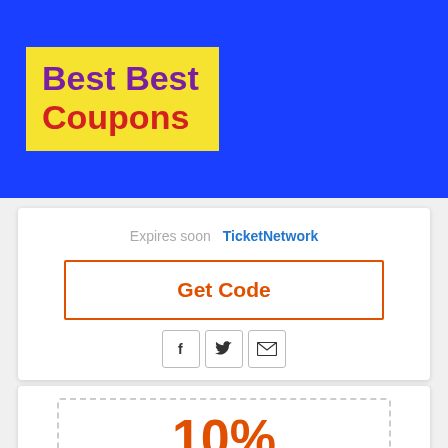[Figure (logo): Best Best Coupons logo: yellow background, purple text 'Best Best', red text 'Coupons', on blue banner]
Expires soon   TicketNetwork
Get Code
[Figure (infographic): Social share icons: Facebook (f), Twitter (bird), Email (envelope)]
10%
off
Coupon